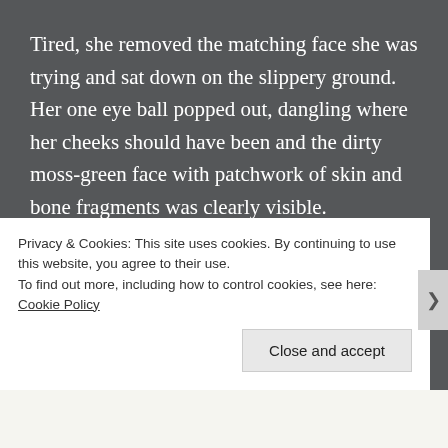Tired, she removed the matching face she was trying and sat down on the slippery ground. Her one eye ball popped out, dangling where her cheeks should have been and the dirty moss-green face with patchwork of skin and bone fragments was clearly visible.
“You are so stupid”, said bones and moved to sit beside her.
“Maybe you are stupid.” The first...
Privacy & Cookies: This site uses cookies. By continuing to use this website, you agree to their use.
To find out more, including how to control cookies, see here: Cookie Policy